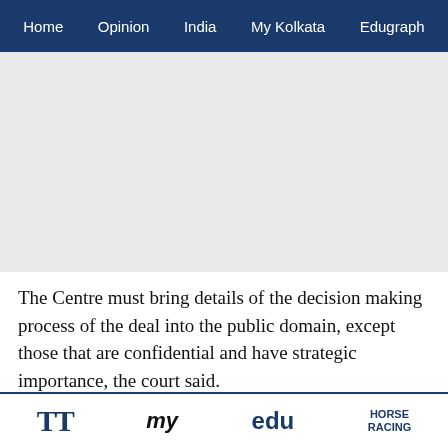Home   Opinion   India   My Kolkata   Edugraph
[Figure (other): Advertisement placeholder (gray rectangle)]
The Centre must bring details of the decision making process of the deal into the public domain, except those that are confidential and have strategic importance, the court said.
The bench said the information must be shared by the government within 10 days and the petitioners could
TT   My Kolkata   edu   HORSE RACING